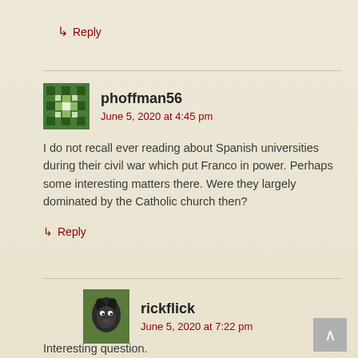↳ Reply
phoffman56
June 5, 2020 at 4:45 pm
I do not recall ever reading about Spanish universities during their civil war which put Franco in power. Perhaps some interesting matters there. Were they largely dominated by the Catholic church then?
↳ Reply
rickflick
June 5, 2020 at 7:22 pm
Interesting question.